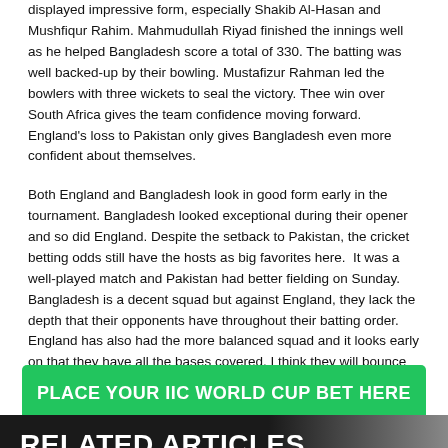displayed impressive form, especially Shakib Al-Hasan and Mushfiqur Rahim. Mahmudullah Riyad finished the innings well as he helped Bangladesh score a total of 330. The batting was well backed-up by their bowling. Mustafizur Rahman led the bowlers with three wickets to seal the victory. Thee win over South Africa gives the team confidence moving forward. England's loss to Pakistan only gives Bangladesh even more confident about themselves.
Both England and Bangladesh look in good form early in the tournament. Bangladesh looked exceptional during their opener and so did England. Despite the setback to Pakistan, the cricket betting odds still have the hosts as big favorites here.  It was a well-played match and Pakistan had better fielding on Sunday. Bangladesh is a decent squad but against England, they lack the depth that their opponents have throughout their batting order. England has also had the more balanced squad and it looks early on that they have all the bases covered. I think they will bounce back from the loss and beat Bangladesh here. Prediction: England
[Figure (other): Green button with white bold text: PLACE YOUR IIC WORLD CUP BET HERE]
RELATED ARTICLES